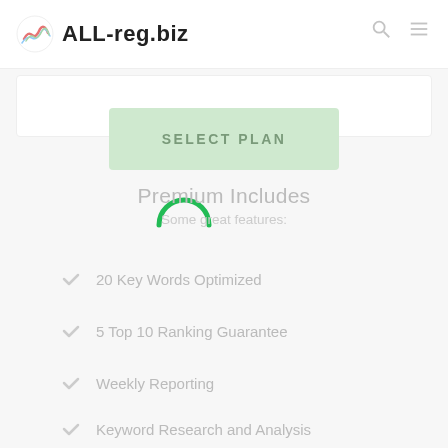ALL-reg.biz
[Figure (screenshot): SELECT PLAN button (light green, disabled/loading state)]
[Figure (illustration): Green spinning/loading arc indicator overlaid on content]
Premium Includes
Some great features:
20 Key Words Optimized
5 Top 10 Ranking Guarantee
Weekly Reporting
Keyword Research and Analysis